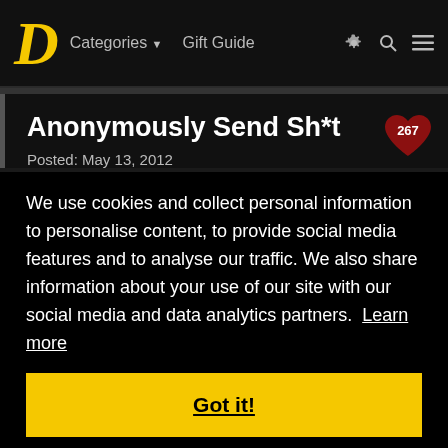D  Categories ▼  Gift Guide  ⚙ 🔍 ≡
Anonymously Send Sh*t
Posted: May 13, 2012
We use cookies and collect personal information to personalise content, to provide social media features and to analyse our traffic. We also share information about your use of our site with our social media and data analytics partners. Learn more
Got it!
[Figure (photo): Partial image of what appears to be food or natural material visible at the bottom of the page]